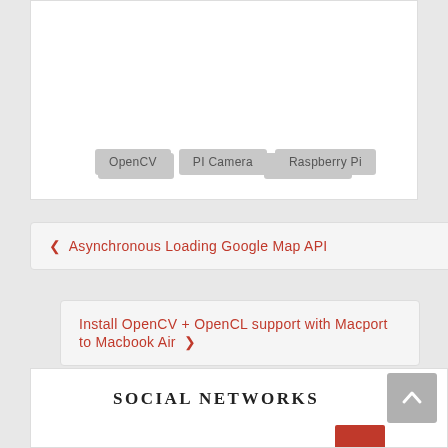OpenCV
PI Camera
Raspberry Pi
❮ Asynchronous Loading Google Map API
Install OpenCV + OpenCL support with Macport to Macbook Air ❯
SOCIAL NETWORKS